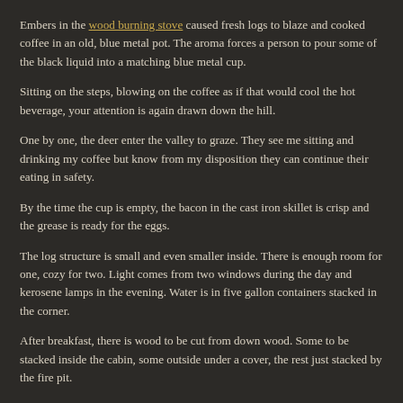Embers in the wood burning stove caused fresh logs to blaze and cooked coffee in an old, blue metal pot.  The aroma forces a person to pour some of the black liquid into a matching blue metal cup.
Sitting on the steps, blowing on the coffee as if that would cool the hot beverage, your attention is again drawn down the hill.
One by one, the deer enter the valley to graze.  They see me sitting and drinking my coffee but know from my disposition they can continue their eating in safety.
By the time the cup is empty, the bacon in the cast iron skillet is crisp and the grease is ready for the eggs.
The log structure is small and even smaller inside.  There is enough room for one, cozy for two.  Light comes from two windows during the day and kerosene lamps in the evening.  Water is in five gallon containers stacked in the corner.
After breakfast, there is wood to be cut from down wood.  Some to be stacked inside the cabin, some outside under a cover, the rest just stacked by the fire pit.